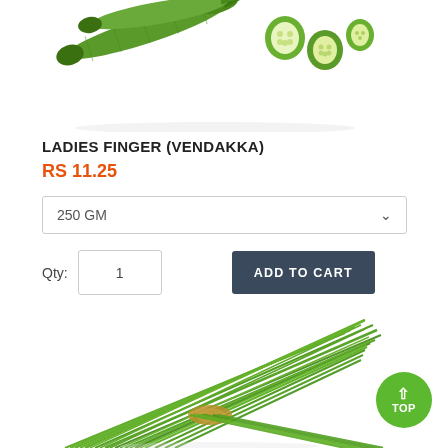[Figure (photo): Okra / ladies finger vegetables with cross-section cuts shown, on white background]
LADIES FINGER (VENDAKKA)
RS 11.25
250 GM
Qty: 1
ADD TO CART
[Figure (photo): Bundle of long green beans / yard-long beans tied with string, on white background]
TOP